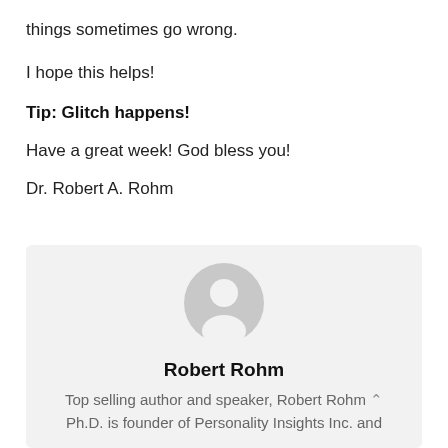things sometimes go wrong.
I hope this helps!
Tip: Glitch happens!
Have a great week! God bless you!
Dr. Robert A. Rohm
[Figure (illustration): Generic user avatar icon: grey circle with white silhouette of a person]
Robert Rohm
Top selling author and speaker, Robert Rohm Ph.D. is founder of Personality Insights Inc. and